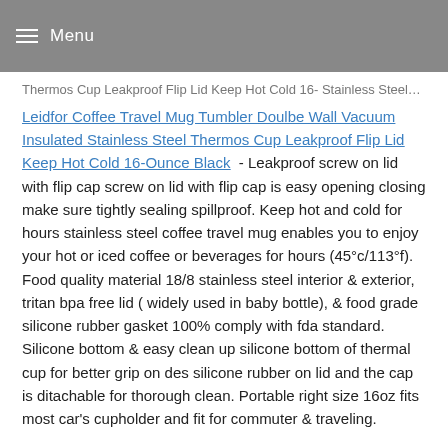Menu
Thermos Cup Leakproof Flip Lid Keep Hot Cold 16- Stainless Steel…
Leidfor Coffee Travel Mug Tumbler Doulbe Wall Vacuum Insulated Stainless Steel Thermos Cup Leakproof Flip Lid Keep Hot Cold 16-Ounce Black - Leakproof screw on lid with flip cap screw on lid with flip cap is easy opening closing make sure tightly sealing spillproof. Keep hot and cold for hours stainless steel coffee travel mug enables you to enjoy your hot or iced coffee or beverages for hours (45°c/113°f). Food quality material 18/8 stainless steel interior & exterior, tritan bpa free lid ( widely used in baby bottle), & food grade silicone rubber gasket 100% comply with fda standard. Silicone bottom & easy clean up silicone bottom of thermal cup for better grip on des silicone rubber on lid and the cap is ditachable for thorough clean. Portable right size 16oz fits most car's cupholder and fit for commuter & traveling.
SHARE THIS POST